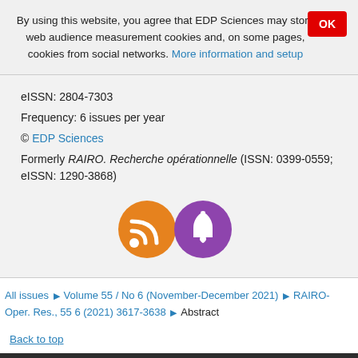By using this website, you agree that EDP Sciences may store web audience measurement cookies and, on some pages, cookies from social networks. More information and setup
eISSN: 2804-7303
Frequency: 6 issues per year
© EDP Sciences
Formerly RAIRO. Recherche opérationnelle (ISSN: 0399-0559; eISSN: 1290-3868)
[Figure (illustration): Two circular icon buttons: an orange RSS feed icon and a purple notification bell icon]
All issues ▶ Volume 55 / No 6 (November-December 2021) ▶ RAIRO-Oper. Res., 55 6 (2021) 3617-3638 ▶ Abstract
Back to top